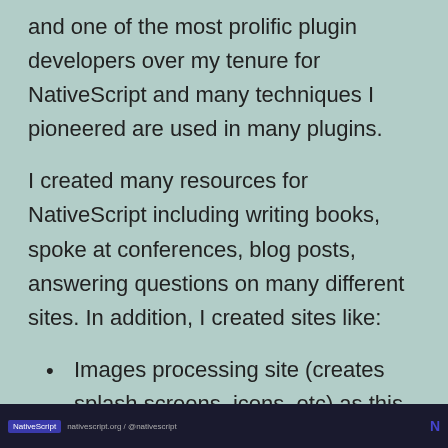and one of the most prolific plugin developers over my tenure for NativeScript and many techniques I pioneered are used in many plugins.
I created many resources for NativeScript including writing books, spoke at conferences, blog posts, answering questions on many different sites. In addition, I created sites like:
Images processing site (creates splash screens, icons, etc) as this used to be a very manual process...